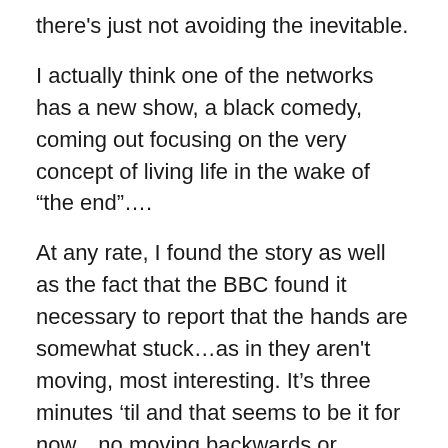there's just not avoiding the inevitable.
I actually think one of the networks has a new show, a black comedy, coming out focusing on the very concept of living life in the wake of “the end”….
At any rate, I found the story as well as the fact that the BBC found it necessary to report that the hands are somewhat stuck…as in they aren't moving, most interesting. It’s three minutes 'til and that seems to be it for now…no moving backwards or forwards—and depending on one’s outlook, maybe that’s a good thing…at least we’re not moving forward, with maybe a chance to go backwards…
However, given the precarious global situation I don't think backwards is going to be an option anytime soon.
And whereas man may need reminding every once in a